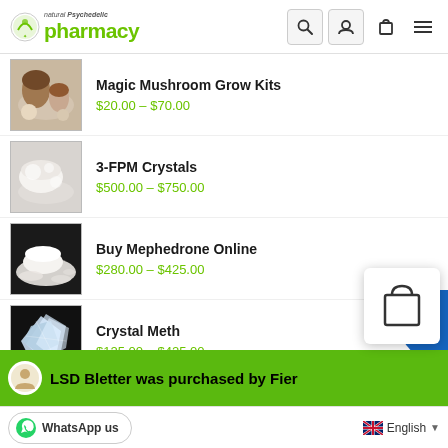natural Psychedelic pharmacy
Magic Mushroom Grow Kits — $20.00 – $70.00
3-FPM Crystals — $500.00 – $750.00
Buy Mephedrone Online — $280.00 – $425.00
Crystal Meth — $125.00 – $425.00
LSD Bletter was purchased by Fier
WhatsApp us
English
WhatsApp us  English